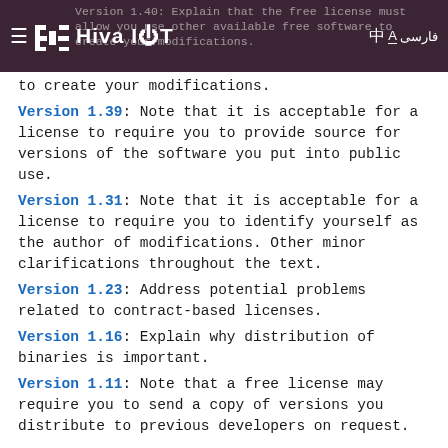Hiva IOT — Version 1.40: Explain that the free license must allow you use other available free software to create your modifications.
Version 1.39: Note that it is acceptable for a license to require you to provide source for versions of the software you put into public use.
Version 1.31: Note that it is acceptable for a license to require you to identify yourself as the author of modifications. Other minor clarifications throughout the text.
Version 1.23: Address potential problems related to contract-based licenses.
Version 1.16: Explain why distribution of binaries is important.
Version 1.11: Note that a free license may require you to send a copy of versions you distribute to previous developers on request.